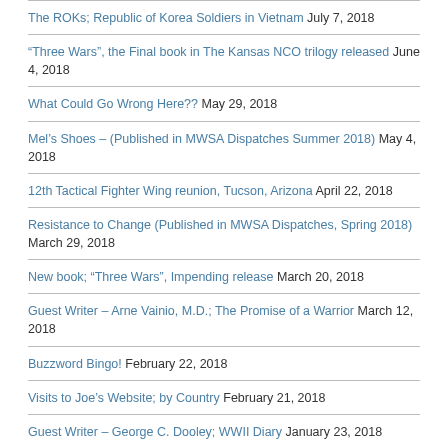The ROKs; Republic of Korea Soldiers in Vietnam July 7, 2018
“Three Wars”, the Final book in The Kansas NCO trilogy released June 4, 2018
What Could Go Wrong Here?? May 29, 2018
Mel’s Shoes – (Published in MWSA Dispatches Summer 2018) May 4, 2018
12th Tactical Fighter Wing reunion, Tucson, Arizona April 22, 2018
Resistance to Change (Published in MWSA Dispatches, Spring 2018) March 29, 2018
New book; “Three Wars”, Impending release March 20, 2018
Guest Writer – Arne Vainio, M.D.; The Promise of a Warrior March 12, 2018
Buzzword Bingo! February 22, 2018
Visits to Joe’s Website; by Country February 21, 2018
Guest Writer – George C. Dooley; WWII Diary January 23, 2018
Women of War; Women of Courage….(Published in MWSA